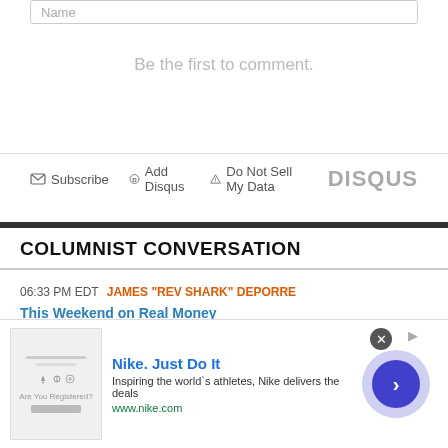Name
Be the first to comment.
Subscribe  Add Disqus  Do Not Sell My Data  DISQUS
COLUMNIST CONVERSATION
06:33 PM EDT JAMES "REV SHARK" DEPORRE
This Weekend on Real Money
[Figure (screenshot): Nike advertisement with logo image, text 'Nike. Just Do It', 'Inspiring the world's athletes, Nike delivers the deals', 'www.nike.com', and a blue circular arrow button]